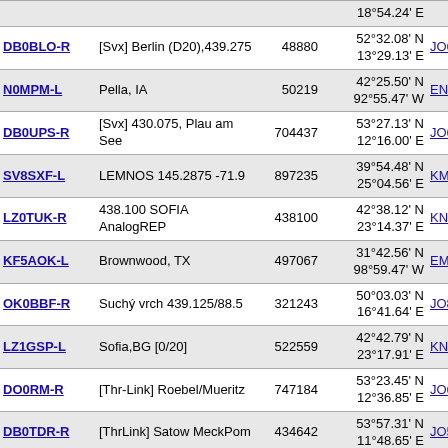| Callsign | Description | ID | Coordinates | Grid | Freq |
| --- | --- | --- | --- | --- | --- |
|  |  |  | 18°54.24' E |  |  |
| DB0BLO-R | [Svx] Berlin (D20),439.275 | 48880 | 52°32.08' N 13°29.13' E | JO62rm | 500 |
| N0MPM-L | Pella, IA | 50219 | 42°25.50' N 92°55.47' W | EN32mk | 500 |
| DB0UPS-R | [Svx] 430.075, Plau am See | 704437 | 53°27.13' N 12°16.00' E | JO63dk | 500 |
| SV8SXF-L | LEMNOS 145.2875 -71.9 | 897235 | 39°54.48' N 25°04.56' E | KM29mv | 501 |
| LZ0TUK-R | 438.100 SOFIA AnalogREP | 438100 | 42°38.12' N 23°14.37' E | KN12op | 501 |
| KF5AOK-L | Brownwood, TX | 497067 | 31°42.56' N 98°59.47' W | EM01mr | 501 |
| OK0BBF-R | Suchý vrch 439.125/88.5 | 321243 | 50°03.03' N 16°41.64' E | JO80ib | 501 |
| LZ1GSP-L | Sofia,BG [0/20] | 522559 | 42°42.79' N 23°17.91' E | KN12pr | 501 |
| DO0RM-R | [Thr-Link] Roebel/Mueritz | 747184 | 53°23.45' N 12°36.85' E | JO63hj | 501 |
| DB0TDR-R | [ThrLink] Satow MeckPom | 434642 | 53°57.31' N 11°48.65' E | JO53vw | 501 |
| K0HTF-L | Urbandale, IA 50322 | 50511 | 41°37.30' N 93°43.33' W | EN31do | 501 |
| W5DEL-R | Oklahoma City, Ok | 164667 | 35°26.80' N 97°26.97' W | EM15gk | 502 |
| DB0MOL-R | Strausberg | 759256 | 52°35.13' N | JO62wo | 502 |